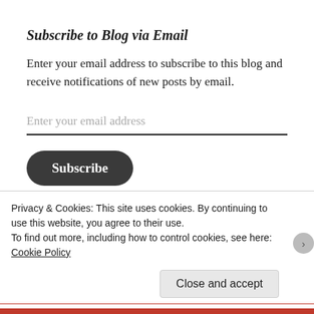Subscribe to Blog via Email
Enter your email address to subscribe to this blog and receive notifications of new posts by email.
Enter your email address
Subscribe
Join 234 other followers
Privacy & Cookies: This site uses cookies. By continuing to use this website, you agree to their use.
To find out more, including how to control cookies, see here:
Cookie Policy
Close and accept